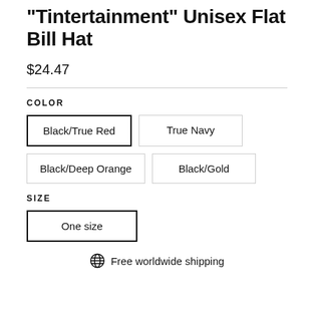"Tintertainment" Unisex Flat Bill Hat
$24.47
COLOR
Black/True Red
True Navy
Black/Deep Orange
Black/Gold
SIZE
One size
Free worldwide shipping